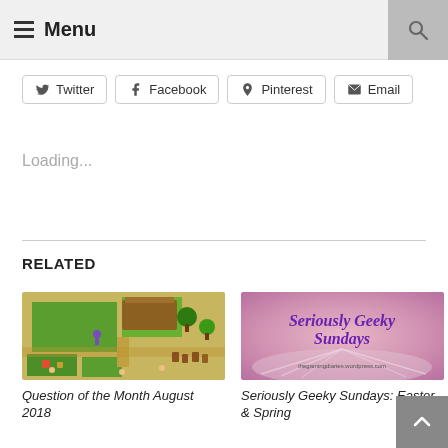☰ Menu
Twitter
Facebook
Pinterest
Email
Loading...
RELATED
[Figure (screenshot): Screenshot of a farming video game (Stardew Valley style) showing an overhead view of a farm with green grass, crops, and characters.]
Question of the Month August 2018
[Figure (illustration): Decorative image with purple cursive text reading 'Seriously Geeky Sundays' on a blurred pink/purple background with an open book. URL thegamingdiaries.wordpress.com shown at bottom.]
Seriously Geeky Sundays: Easter & Spring